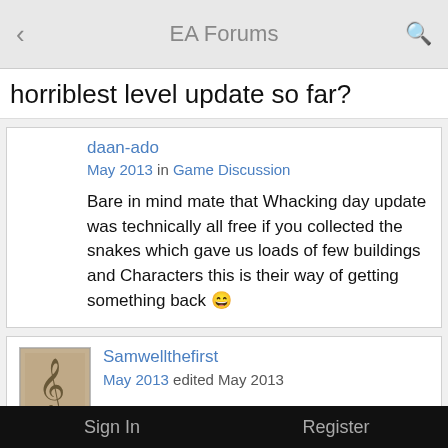EA Forums
horriblest level update so far?
daan-ado
May 2013 in Game Discussion

Bare in mind mate that Whacking day update was technically all free if you collected the snakes which gave us loads of few buildings and Characters this is their way of getting something back 😆
Samwellthefirst
May 2013 edited May 2013

NeoSEC28 wrote:
Bare in mind mate that Whacking day update was technically all free if you collected the snakes which
Sign In    Register